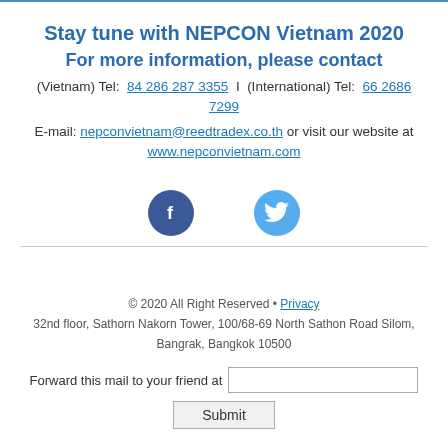Stay tune with NEPCON Vietnam 2020
For more information, please contact
(Vietnam) Tel: 84 286 287 3355 I (International) Tel: 66 2686 7299
E-mail: nepconvietnam@reedtradex.co.th or visit our website at www.nepconvietnam.com
[Figure (illustration): Facebook and Twitter social media icons]
© 2020 All Right Reserved • Privacy
32nd floor, Sathorn Nakorn Tower, 100/68-69 North Sathon Road Silom, Bangrak, Bangkok 10500
Forward this mail to your friend at [input field] Submit